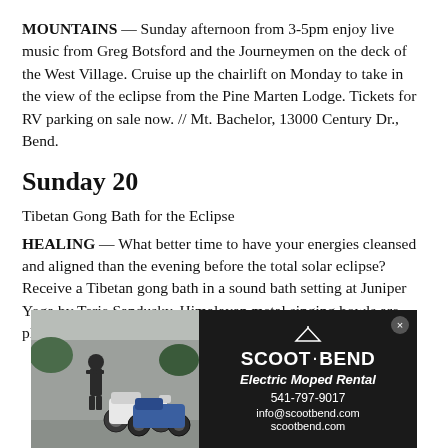MOUNTAINS — Sunday afternoon from 3-5pm enjoy live music from Greg Botsford and the Journeymen on the deck of the West Village. Cruise up the chairlift on Monday to take in the view of the eclipse from the Pine Marten Lodge. Tickets for RV parking on sale now. // Mt. Bachelor, 13000 Century Dr., Bend.
Sunday 20
Tibetan Gong Bath for the Eclipse
HEALING — What better time to have your energies cleansed and aligned than the evening before the total solar eclipse? Receive a Tibetan gong bath in a sound bath setting at Juniper Yoga by Terie Sandusky. Himalayan metal singing bowls are placed on the body and played as the room fills with sound and
[Figure (photo): Advertisement for Scoot Bend Electric Moped Rental. Left side shows a photo of two electric mopeds parked outside with a person standing beside them. Right side is a dark background with white text: SCOOT·BEND, Electric Moped Rental, 541-797-9017, info@scootbend.com, scootbend.com]